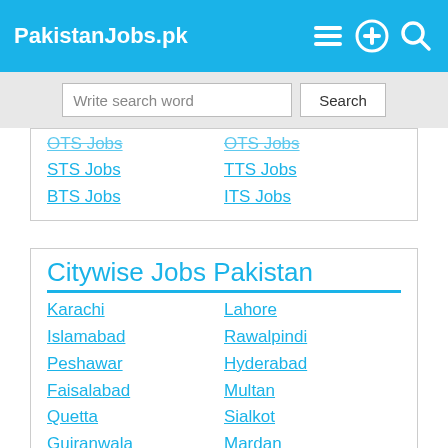PakistanJobs.pk
Write search word
OTS Jobs (partially visible, striked)
STS Jobs
BTS Jobs
OTS Jobs (right col, partially visible, striked)
TTS Jobs
ITS Jobs
Citywise Jobs Pakistan
Karachi
Islamabad
Peshawar
Faisalabad
Quetta
Gujranwala
Abbottabad
Sargodha
Haripur
Sheikhupura
Dera Ismail Khan
Chakwal
Nowshera
Swat
Lahore
Rawalpindi
Hyderabad
Multan
Sialkot
Mardan
Sukkur
Muzaffarabad
Wah
Kasur
Mianwali
Okara
Taxila
Attock